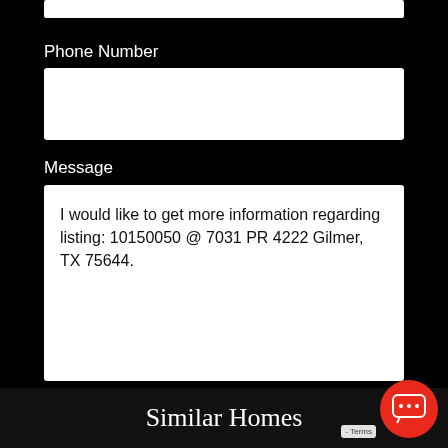Phone Number
Message
I would like to get more information regarding listing: 10150050 @ 7031 PR 4222 Gilmer, TX 75644.
Send
Similar Homes